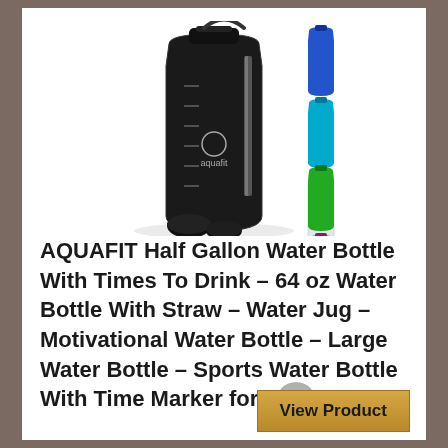[Figure (photo): AQUAFIT half gallon water bottle in black with multiple color variants shown on the right (blue, teal, clear/white, green, pink/magenta). The main bottle is black with measurement markings, a strap handle, straw, and additional lids shown in front.]
AQUAFIT Half Gallon Water Bottle With Times To Drink – 64 oz Water Bottle With Straw – Water Jug – Motivational Water Bottle – Large Water Bottle – Sports Water Bottle With Time Marker for Gym